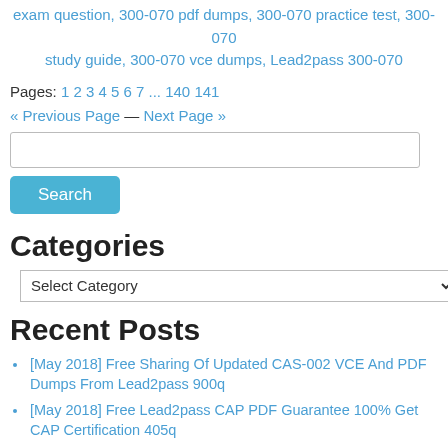exam question, 300-070 pdf dumps, 300-070 practice test, 300-070 study guide, 300-070 vce dumps, Lead2pass 300-070
Pages: 1 2 3 4 5 6 7 ... 140 141
« Previous Page — Next Page »
[Figure (screenshot): Search input box]
Search
Categories
Select Category
Recent Posts
[May 2018] Free Sharing Of Updated CAS-002 VCE And PDF Dumps From Lead2pass 900q
[May 2018] Free Lead2pass CAP PDF Guarantee 100% Get CAP Certification 405q
[May 2018] Lead2pass New Updated ACMP_6.4 Braindump Free Get 264q
[May 2018] Lead2pass 840-425 Exam Questions Guarantee 840-425 Certification Exam 100% Success 191q